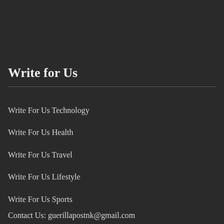Write for Us
Write For Us Technology
Write For Us Health
Write For Us Travel
Write For Us Lifestyle
Write For Us Sports
Contact Us: guerillapostnk@gmail.com